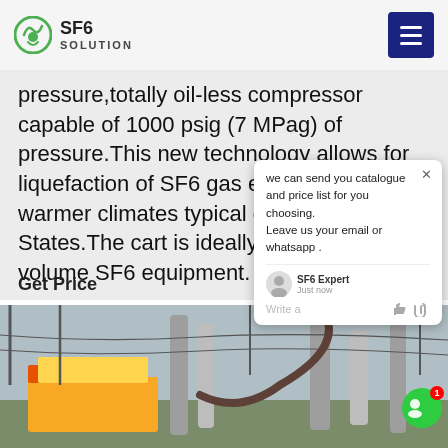SF6 SOLUTION
pressure,totally oil-less compressor capable of 1000 psig (7 MPag) of pressure.This new technology allows for liquefaction of SF6 gas even in the warmer climates typical of the United States.The cart is ideally suited for servicing small volume SF6 equipment.
Get Price
[Figure (photo): A yellow truck/cart parked at an electrical substation with large transformer bushings and transmission towers visible in the background.]
[Figure (screenshot): Chat popup overlay showing message: 'we can send you catalogue and price list for you choosing. Leave us your email or whatsapp.' with SF6 Expert avatar and Just now timestamp.]